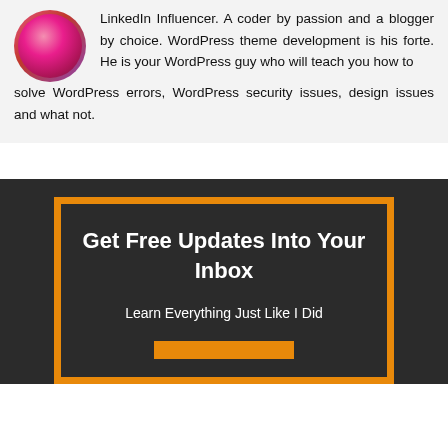[Figure (photo): Circular avatar photo of a person with pink/red hair]
LinkedIn Influencer. A coder by passion and a blogger by choice. WordPress theme development is his forte. He is your WordPress guy who will teach you how to solve WordPress errors, WordPress security issues, design issues and what not.
Get Free Updates Into Your Inbox
Learn Everything Just Like I Did